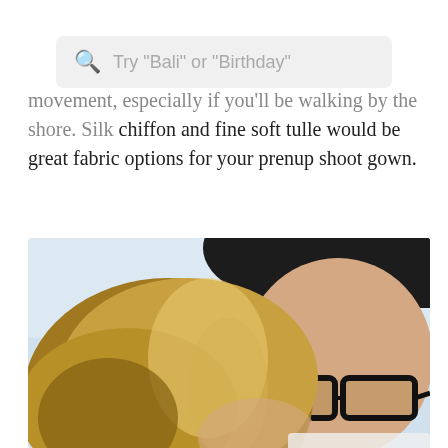[Figure (screenshot): Search bar with placeholder text: Try "Bali" or "Birthday"]
movement, especially if you'll be walking by the shore. Silk chiffon and fine soft tulle would be great fabric options for your prenup shoot gown.
[Figure (photo): A couple in an intimate pose. A man with dark hair and black-framed glasses leans down toward a woman with long highlighted brown hair. Light blue/white background. Both faces partially visible, tender romantic moment.]